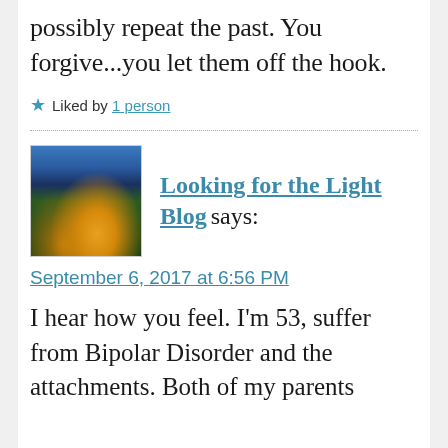possibly repeat the past. You forgive...you let them off the hook.
★ Liked by 1 person
[Figure (photo): Avatar photo of a sunset through tall grass/plants]
Looking for the Light Blog says:
September 6, 2017 at 6:56 PM
I hear how you feel. I'm 53, suffer from Bipolar Disorder and the attachments. Both of my parents